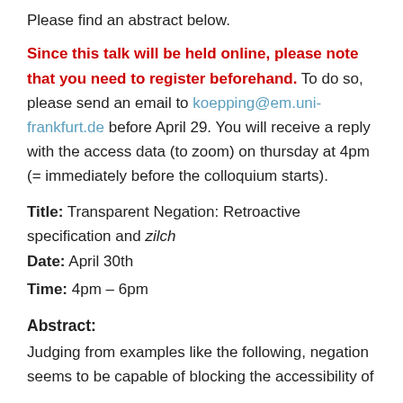Please find an abstract below.
Since this talk will be held online, please note that you need to register beforehand. To do so, please send an email to koepping@em.uni-frankfurt.de before April 29. You will receive a reply with the access data (to zoom) on thursday at 4pm (= immediately before the colloquium starts).
Title: Transparent Negation: Retroactive specification and zilch
Date: April 30th
Time: 4pm – 6pm
Abstract:
Judging from examples like the following, negation seems to be capable of blocking the accessibility of